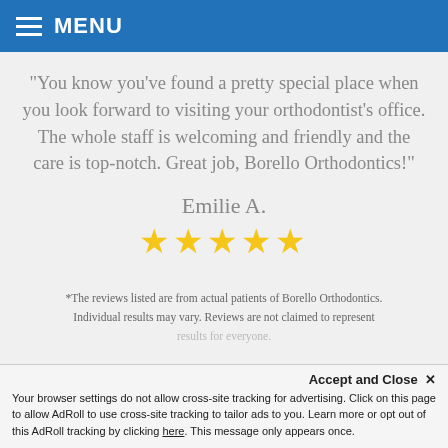MENU
"You know you've found a pretty special place when you look forward to visiting your orthodontist's office. The whole staff is welcoming and friendly and the care is top-notch. Great job, Borello Orthodontics!"
Emilie A.
[Figure (other): Five gold star rating icons]
*The reviews listed are from actual patients of Borello Orthodontics. Individual results may vary. Reviews are not claimed to represent results for everyone.
Accept and Close ✕ Your browser settings do not allow cross-site tracking for advertising. Click on this page to allow AdRoll to use cross-site tracking to tailor ads to you. Learn more or opt out of this AdRoll tracking by clicking here. This message only appears once.